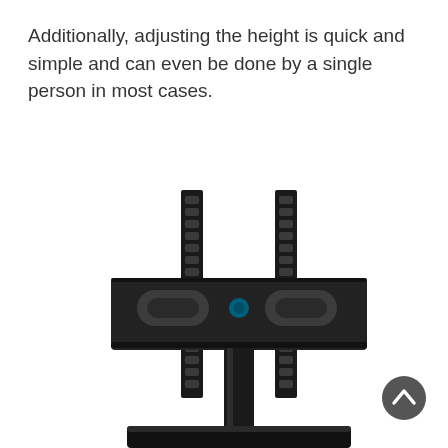Additionally, adjusting the height is quick and simple and can even be done by a single person in most cases.
[Figure (photo): A black TV tabletop stand mount bracket with two vertical slotted rails and a horizontal mounting plate, shown on a pedestal base.]